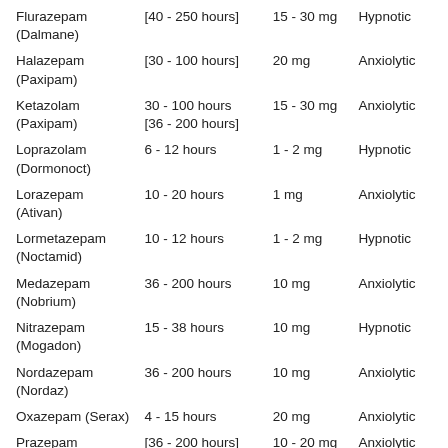| Flurazepam (Dalmane) | [40 - 250 hours] | 15 - 30 mg | Hypnotic |
| Halazepam (Paxipam) | [30 - 100 hours] | 20 mg | Anxiolytic |
| Ketazolam (Paxipam) | 30 - 100 hours [36 - 200 hours] | 15 - 30 mg | Anxiolytic |
| Loprazolam (Dormonoct) | 6 - 12 hours | 1 - 2 mg | Hypnotic |
| Lorazepam (Ativan) | 10 - 20 hours | 1 mg | Anxiolytic |
| Lormetazepam (Noctamid) | 10 - 12 hours | 1 - 2 mg | Hypnotic |
| Medazepam (Nobrium) | 36 - 200 hours | 10 mg | Anxiolytic |
| Nitrazepam (Mogadon) | 15 - 38 hours | 10 mg | Hypnotic |
| Nordazepam (Nordaz) | 36 - 200 hours | 10 mg | Anxiolytic |
| Oxazepam (Serax) | 4 - 15 hours | 20 mg | Anxiolytic |
| Prazepam (Centrax) | [36 - 200 hours] | 10 - 20 mg | Anxiolytic |